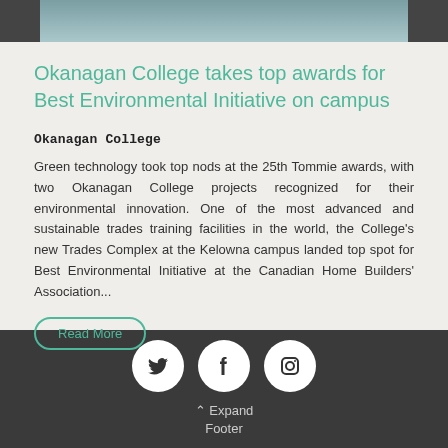[Figure (photo): Top portion of a photo showing a building exterior or campus scene with blue-grey tones]
Okanagan College takes top awards for Best Environmental Initiative on campus
Okanagan College
Green technology took top nods at the 25th Tommie awards, with two Okanagan College projects recognized for their environmental innovation. One of the most advanced and sustainable trades training facilities in the world, the College's new Trades Complex at the Kelowna campus landed top spot for Best Environmental Initiative at the Canadian Home Builders' Association...
Read More
Expand Footer